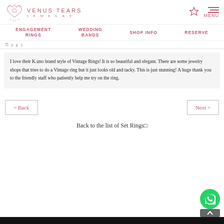VENUS TEARS JEWELRY
ENGAGEMENT RINGS   WEDDING BANDS   SHOP INFO   RESERVE
I love their K.uno brand style of Vintage Rings! It is so beautiful and elegant. There are some jewelry shops that tries to do a Vintage ring but it just looks old and tacky. This is just stunning! A huge thank you to the friendly staff who patiently help me try on the ring.
< Back
Next >
Back to the list of Set Rings□